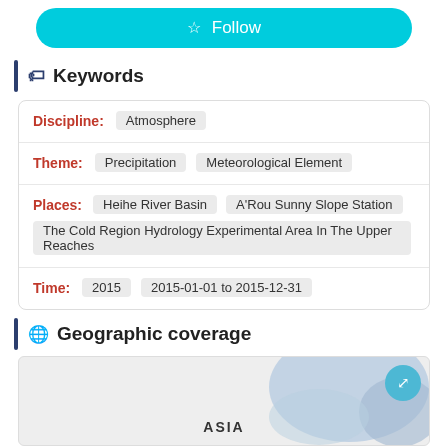☆ Follow
Keywords
| Discipline: | Atmosphere |
| Theme: | Precipitation | Meteorological Element |
| Places: | Heihe River Basin | A'Rou Sunny Slope Station | The Cold Region Hydrology Experimental Area In The Upper Reaches |
| Time: | 2015 | 2015-01-01 to 2015-12-31 |
Geographic coverage
[Figure (map): Map showing geographic coverage in Asia region]